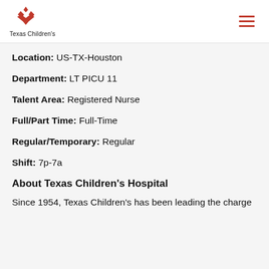[Figure (logo): Texas Children's Hospital logo with red layered chevron/star icon above the text 'Texas Children's']
Location: US-TX-Houston
Department: LT PICU 11
Talent Area: Registered Nurse
Full/Part Time: Full-Time
Regular/Temporary: Regular
Shift: 7p-7a
About Texas Children's Hospital
Since 1954, Texas Children's has been leading the charge